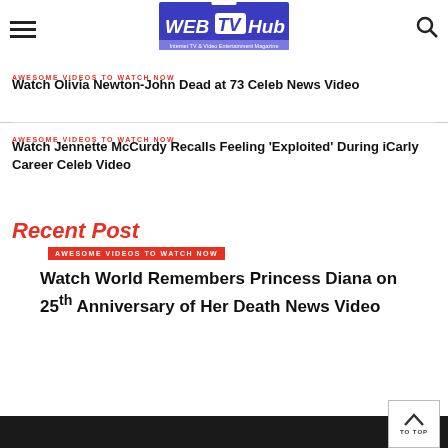WebTVHub — Internet TV & Video Entertainment Magazine
AWESOME VIDEOS TO WATCH NOW
Watch Olivia Newton-John Dead at 73 Celeb News Video
AWESOME VIDEOS TO WATCH NOW
Watch Jennette McCurdy Recalls Feeling 'Exploited' During iCarly Career Celeb Video
Recent Post
AWESOME VIDEOS TO WATCH NOW
Watch World Remembers Princess Diana on 25th Anniversary of Her Death News Video
TO TOP